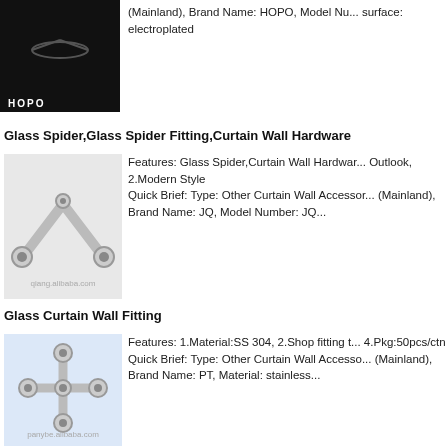[Figure (photo): Product photo of HOPO hardware item on black background with HOPO logo label]
(Mainland), Brand Name: HOPO, Model Nu... surface: electroplated
Glass Spider,Glass Spider Fitting,Curtain Wall Hardware
[Figure (photo): Glass spider fitting hardware component, silver metallic V-shape with circular ends, on light gray background with qiang.alibaba.com watermark]
Features: Glass Spider,Curtain Wall Hardwar... Outlook, 2.Modern Style
Quick Brief: Type: Other Curtain Wall Accessor... (Mainland), Brand Name: JQ, Model Number: JQ...
Glass Curtain Wall Fitting
[Figure (photo): Glass curtain wall spider fitting, 4-arm stainless steel spider, on light blue background with panybe.alibaba.com watermark]
Features: 1.Material:SS 304, 2.Shop fitting t... 4.Pkg:50pcs/ctn
Quick Brief: Type: Other Curtain Wall Accesso... (Mainland), Brand Name: PT, Material: stainless...